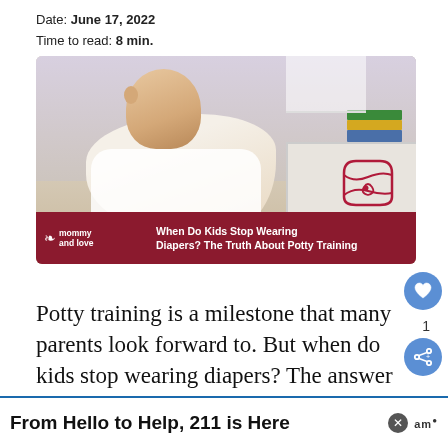Date: June 17, 2022
Time to read: 8 min.
[Figure (photo): A baby in a white shirt crawling on a carpet, looking upward, in a bright room with white furniture. Image has 'mommy and love' logo and overlay text 'When Do Kids Stop Wearing Diapers? The Truth About Potty Training'. A diaper icon illustration is visible on the right side.]
Potty training is a milestone that many parents look forward to. But when do kids stop wearing diapers? The answer to this question may surprise you! In this blog
From Hello to Help, 211 is Here